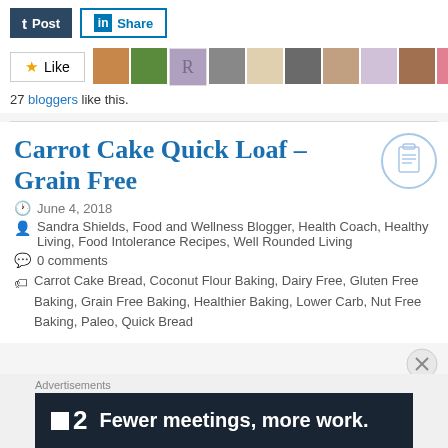[Figure (screenshot): Social share buttons: Tumblr Post button (dark blue) and LinkedIn Share button (outlined blue)]
[Figure (screenshot): Like button with star icon and row of blogger avatar thumbnails]
27 bloggers like this.
Carrot Cake Quick Loaf – Grain Free
June 4, 2018
Sandra Shields, Food and Wellness Blogger, Health Coach, Healthy Living, Food Intolerance Recipes, Well Rounded Living
0 comments
Carrot Cake Bread, Coconut Flour Baking, Dairy Free, Gluten Free Baking, Grain Free Baking, Healthier Baking, Lower Carb, Nut Free Baking, Paleo, Quick Bread
[Figure (illustration): Clipboard icon inside a light blue circle]
Advertisements
[Figure (screenshot): Advertisement banner: dark background with Fewer meetings, more work. text and logo showing a square icon and number 2]